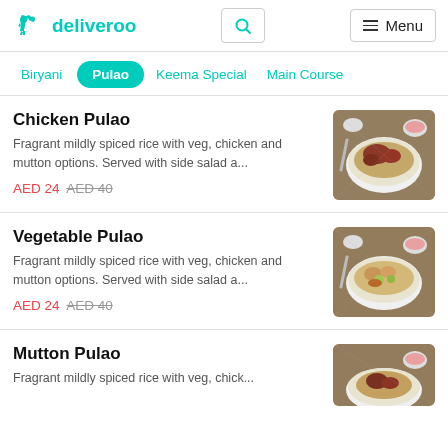[Figure (logo): Deliveroo logo with teal kangaroo icon and teal 'deliveroo' wordmark]
deliveroo | Search | Menu
Biryani
Pulao (active/selected)
Keema Special
Main Course
Chicken Pulao
Fragrant mildly spiced rice with veg, chicken and mutton options. Served with side salad a...
AED 24  AED 40
[Figure (photo): Photo of Chicken Pulao - rice dish with chicken in a white bowl on a checkered surface with small bowls in background]
Vegetable Pulao
Fragrant mildly spiced rice with veg, chicken and mutton options. Served with side salad a...
AED 24  AED 40
[Figure (photo): Photo of Vegetable Pulao - rice dish with vegetables in a white bowl on a checkered surface]
Mutton Pulao
Fragrant mildly spiced rice with veg, chick...